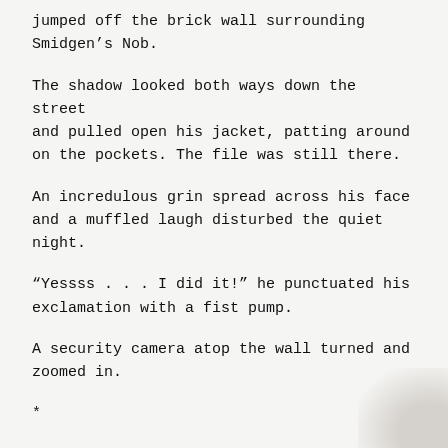jumped off the brick wall surrounding Smidgen’s Nob.
The shadow looked both ways down the street and pulled open his jacket, patting around on the pockets. The file was still there.
An incredulous grin spread across his face and a muffled laugh disturbed the quiet night.
“Yessss . . . I did it!” he punctuated his exclamation with a fist pump.
A security camera atop the wall turned and zoomed in.
*